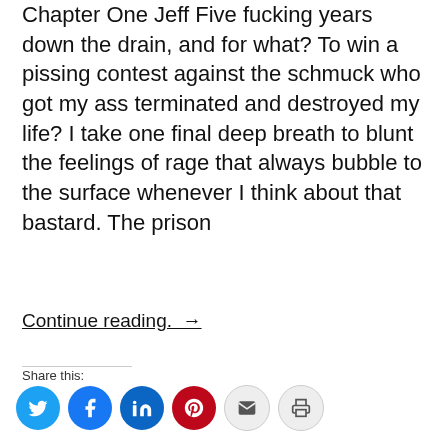Chapter One Jeff Five fucking years down the drain, and for what? To win a pissing contest against the schmuck who got my ass terminated and destroyed my life? I take one final deep breath to blunt the feelings of rage that always bubble to the surface whenever I think about that bastard. The prison
Continue reading. →
Share this:
[Figure (infographic): Social share icon buttons: Twitter (blue), Facebook (blue), LinkedIn (blue), Pinterest (red), Email (grey), Print (grey) — all circular icons]
Like this: